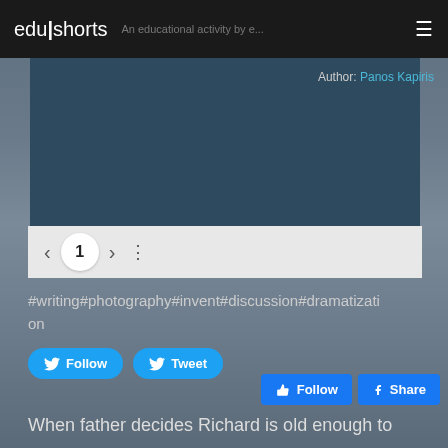edu|shorts  An educational activity by...
Author: Panos Kapiris
[Figure (screenshot): Dark teal content panel with pagination controls showing page 1 with left/right arrows and a three-dot menu]
#writing#photography#invent#discussion#dramatization
Follow  Tweet  Follow  Share (social media buttons)
When father decides Richard is old enough to